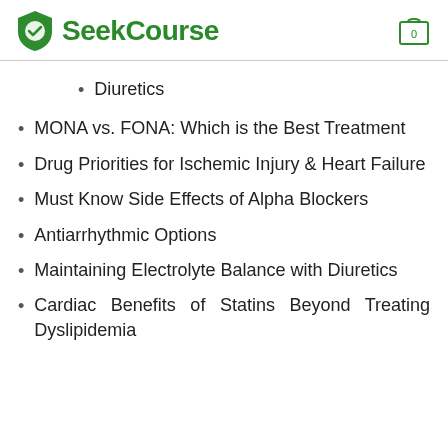SeekCourse
Diuretics
MONA vs. FONA: Which is the Best Treatment
Drug Priorities for Ischemic Injury & Heart Failure
Must Know Side Effects of Alpha Blockers
Antiarrhythmic Options
Maintaining Electrolyte Balance with Diuretics
Cardiac Benefits of Statins Beyond Treating Dyslipidemia